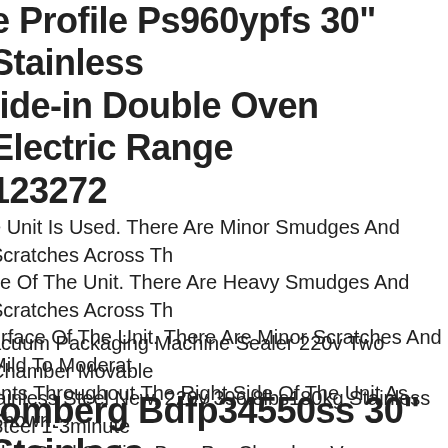Ge Profile Ps960ypfs 30" Stainless Slide-in Double Oven Electric Range #123272
he Unit Is Used. There Are Minor Smudges And Scratches Across Th ce Of The Unit. There Are Heavy Smudges And Scratches Across Th urface Of The Unit. There Are Minor Scratches And Mild To Moderat ents Throughout The Right Side Of The Unit As Shown.
acuum Packaging Machine Sealer 220v Two Chamber Movable tainless Steel New. 220v 396.8lbs180kg Stainless Steel 1-3minute 9kw. Dual Sealing Bars Per Chamber. Vacuum Level Indicator Gauge efore The Machine Is Used, It Is Necessary To Add No. 46 Or No. 100 ydraulic Oil To The Vacuum Pump.
Blomberg Bdfp34550ss 30" Stainless Pro-style Dual Fuel Range Nib